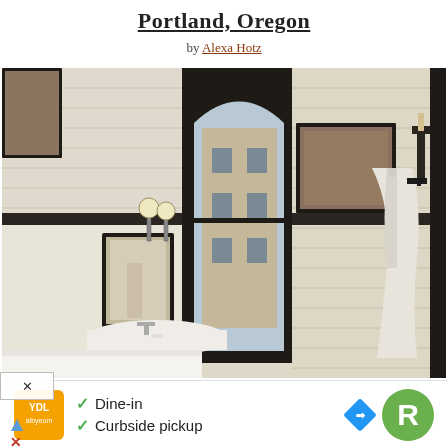Portland, Oregon
by Alexa Hotz
[Figure (photo): Hotel bathroom with exposed white brick walls, arched tall window with black frame looking out to a brick building, antique vanity mirror with globe lights, white pedestal sink, artwork on wall, white bathrobe hanging on wall-mounted hook, black accents throughout.]
[Figure (other): Advertisement bar: restaurant logo (Yelp-style), checkmarks for Dine-in and Curbside pickup, navigation diamond icon and green R circle logo on right side. Below: arrow icon and X icon.]